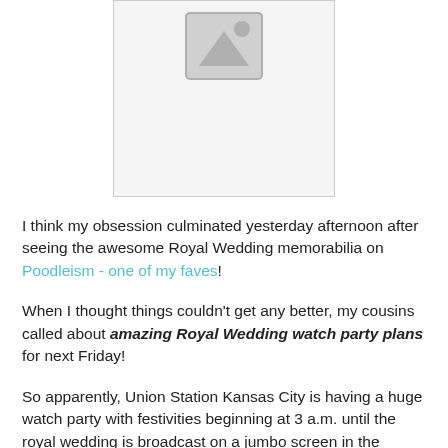[Figure (illustration): Broken image placeholder with a gray triangular icon on a light gray background, centered on the page, with a border.]
I think my obsession culminated yesterday afternoon after seeing the awesome Royal Wedding memorabilia on Poodleism - one of my faves!
When I thought things couldn't get any better, my cousins called about amazing Royal Wedding watch party plans for next Friday!
So apparently, Union Station Kansas City is having a huge watch party with festivities beginning at 3 a.m. until the royal wedding is broadcast on a jumbo screen in the middle of Union Station at 6 a.m.